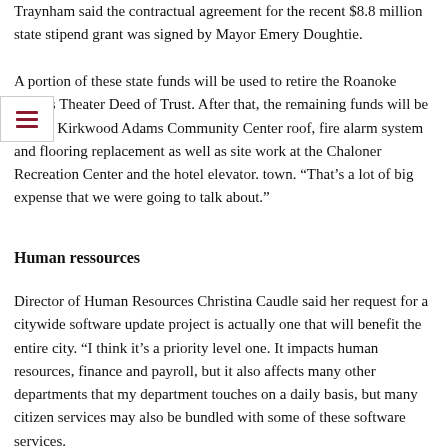Traynham said the contractual agreement for the recent $8.8 million state stipend grant was signed by Mayor Emery Doughtie.
A portion of these state funds will be used to retire the Roanoke Rapids Theater Deed of Trust. After that, the remaining funds will be for the Kirkwood Adams Community Center roof, fire alarm system and flooring replacement as well as site work at the Chaloner Recreation Center and the hotel elevator. town. “That’s a lot of big expense that we were going to talk about.”
Human ressources
Director of Human Resources Christina Caudle said her request for a citywide software update project is actually one that will benefit the entire city. “I think it’s a priority level one. It impacts human resources, finance and payroll, but it also affects many other departments that my department touches on a daily basis, but many citizen services may also be bundled with some of these software services.